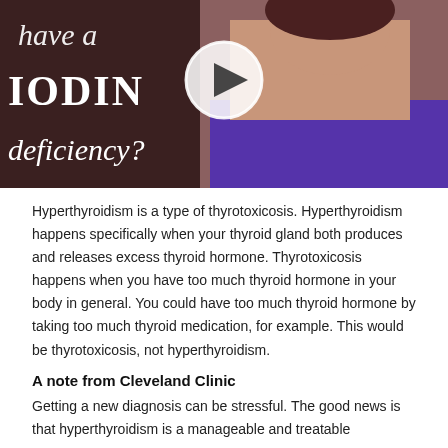[Figure (screenshot): Video thumbnail showing a woman in a purple dress with text overlay reading 'have a IODINE deficiency?' and a play button circle in the center]
Hyperthyroidism is a type of thyrotoxicosis. Hyperthyroidism happens specifically when your thyroid gland both produces and releases excess thyroid hormone. Thyrotoxicosis happens when you have too much thyroid hormone in your body in general. You could have too much thyroid hormone by taking too much thyroid medication, for example. This would be thyrotoxicosis, not hyperthyroidism.
A note from Cleveland Clinic
Getting a new diagnosis can be stressful. The good news is that hyperthyroidism is a manageable and treatable...